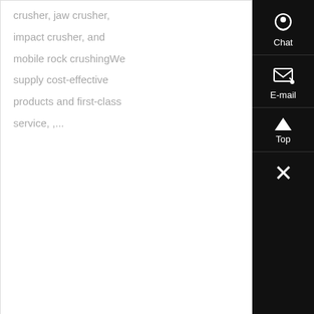crusher, jaw crusher, impact crusher, and mobile rock crushingWe supply cost-effective products and first-class service, ,...
Know More
[Figure (photo): Photo of stone crusher machinery — industrial grid/grate structure viewed from above in a factory or quarry setting.]
China Stone Crusher, Stone Crusher Manufactur...
China Stone Crusher manufacturers -